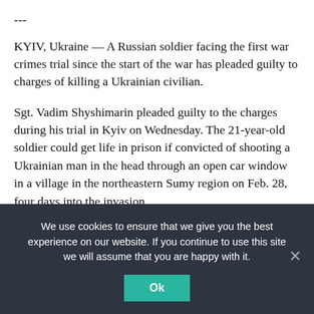---
KYIV, Ukraine — A Russian soldier facing the first war crimes trial since the start of the war has pleaded guilty to charges of killing a Ukrainian civilian.
Sgt. Vadim Shyshimarin pleaded guilty to the charges during his trial in Kyiv on Wednesday. The 21-year-old soldier could get life in prison if convicted of shooting a Ukrainian man in the head through an open car window in a village in the northeastern Sumy region on Feb. 28, four days into the invasion.
Ukraine's Prosecutor General Iryna Venediktova has previously said her office was readying war crimes cases
We use cookies to ensure that we give you the best experience on our website. If you continue to use this site we will assume that you are happy with it.
Ok